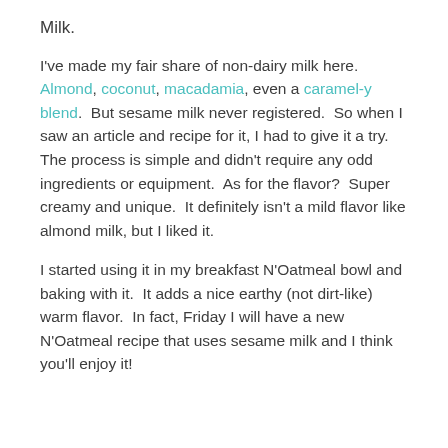Milk.
I've made my fair share of non-dairy milk here. Almond, coconut, macadamia, even a caramel-y blend. But sesame milk never registered. So when I saw an article and recipe for it, I had to give it a try. The process is simple and didn't require any odd ingredients or equipment. As for the flavor? Super creamy and unique. It definitely isn't a mild flavor like almond milk, but I liked it.
I started using it in my breakfast N'Oatmeal bowl and baking with it. It adds a nice earthy (not dirt-like) warm flavor. In fact, Friday I will have a new N'Oatmeal recipe that uses sesame milk and I think you'll enjoy it!